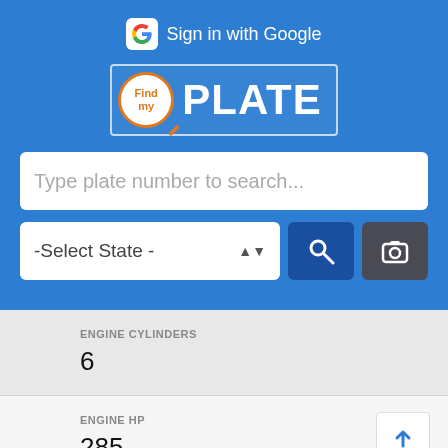[Figure (screenshot): FindMyPlate app screenshot showing Sign in with Google button, FindPlate logo with magnifying glass badge, a search box for plate number, state selector dropdown, search button, and camera button on blue background]
Sign in with Google
Find PLATE
Type plate number to search...
-Select State -
ENGINE CYLINDERS
6
ENGINE HP
285